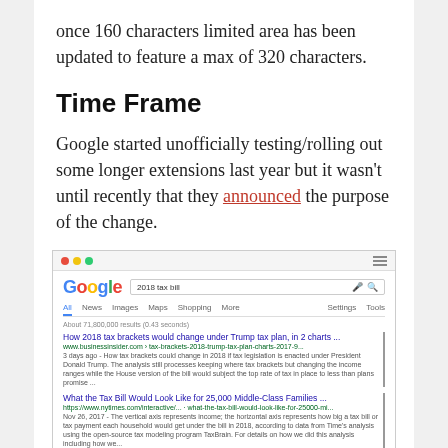once 160 characters limited area has been updated to feature a max of 320 characters.
Time Frame
Google started unofficially testing/rolling out some longer extensions last year but it wasn't until recently that they announced the purpose of the change.
[Figure (screenshot): Screenshot of a Google search results page for '2018 tax bill' showing three search results with character count annotations of 292, 304, and 315 marked in red on the right side of the results.]